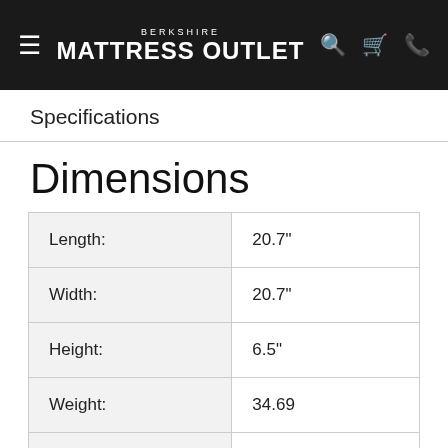BERKSHIRE MATTRESS OUTLET
Specifications
Dimensions
|  |  |
| --- | --- |
| Length: | 20.7" |
| Width: | 20.7" |
| Height: | 6.5" |
| Weight: | 34.69 |